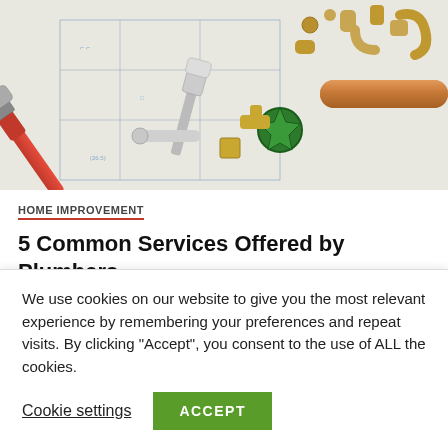[Figure (photo): Plumbing tools and copper fittings spread over blueprint plans, including red pipe wrench, adjustable wrench, brass fittings, green valve, and copper pipes.]
HOME IMPROVEMENT
5 Common Services Offered by Plumbers
April 7, 2022   FeliciaF.Rose
We use cookies on our website to give you the most relevant experience by remembering your preferences and repeat visits. By clicking “Accept”, you consent to the use of ALL the cookies.
Cookie settings   ACCEPT